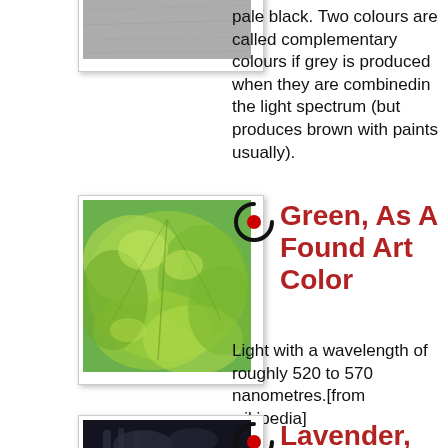[Figure (photo): Close-up photo of a crumpled grey/white textured surface (top, partially visible)]
pale black. Two colours are called complementary colours if grey is produced when they are combinedin the light spectrum (but produces brown with paints usually).
[Figure (photo): Close-up photo of bright green lettuce leaves]
Green, As A Found Art Color
Light with a wavelength of roughly 520 to 570 nanometres.[from wikipedia]
[Figure (photo): Dark photo partially visible at bottom, appears to show an insect or creature]
Lavender, The Co...